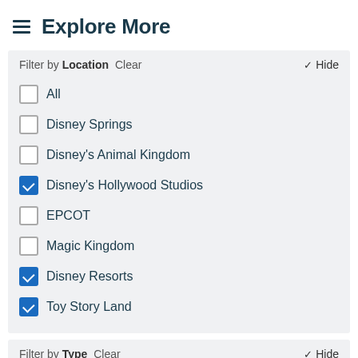Explore More
Filter by Location  Clear  ✓ Hide
☐ All
☐ Disney Springs
☐ Disney's Animal Kingdom
☑ Disney's Hollywood Studios
☐ EPCOT
☐ Magic Kingdom
☑ Disney Resorts
☑ Toy Story Land
Filter by Type  Clear  ✓ Hide
☐ All
☑ Closures